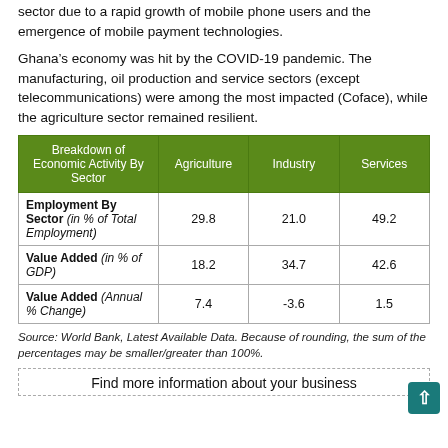sector due to a rapid growth of mobile phone users and the emergence of mobile payment technologies.
Ghana’s economy was hit by the COVID-19 pandemic. The manufacturing, oil production and service sectors (except telecommunications) were among the most impacted (Coface), while the agriculture sector remained resilient.
| Breakdown of Economic Activity By Sector | Agriculture | Industry | Services |
| --- | --- | --- | --- |
| Employment By Sector (in % of Total Employment) | 29.8 | 21.0 | 49.2 |
| Value Added (in % of GDP) | 18.2 | 34.7 | 42.6 |
| Value Added (Annual % Change) | 7.4 | -3.6 | 1.5 |
Source: World Bank, Latest Available Data. Because of rounding, the sum of the percentages may be smaller/greater than 100%.
Find more information about your business